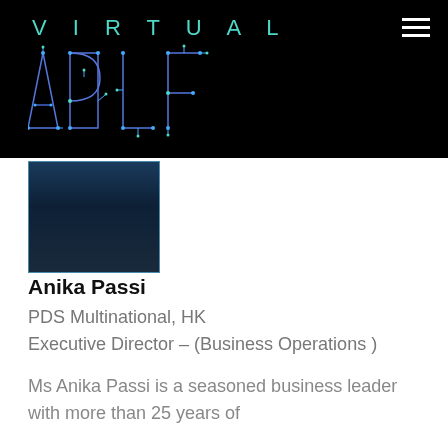[Figure (logo): Virtual APLF logo on black background with teal circuit-style lettering and hamburger menu icon]
[Figure (photo): Partial photo of Anika Passi, person wearing dark clothing with necklace, cropped at neck/shoulders]
Anika Passi
PDS Multinational, HK
Executive Director – (Business Operations )
Ms Anika Passi is a seasoned business leader with more than 25 years of